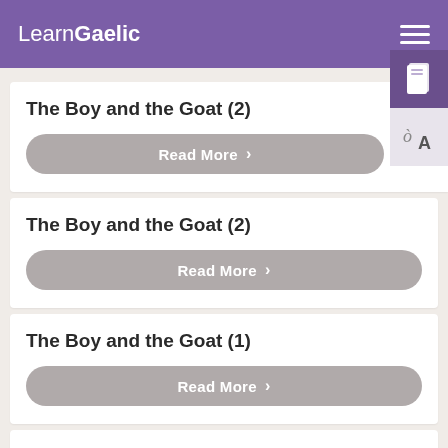LearnGaelic
The Boy and the Goat (2)
Read More
The Boy and the Goat (2)
Read More
The Boy and the Goat (1)
Read More
The one-eyed Miller and the Silent